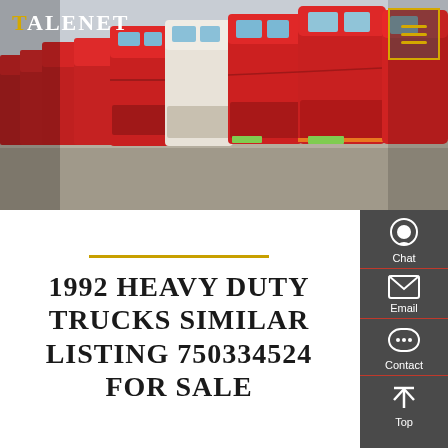[Figure (photo): A row of red heavy duty trucks parked side by side in a lot, viewed from the front/side angle. Multiple brands visible including white and red cab-over trucks.]
TALENET
1992 HEAVY DUTY TRUCKS SIMILAR LISTING 750334524 FOR SALE